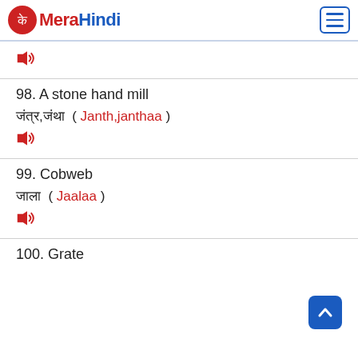MeraHindi
98. A stone hand mill — जंत्र,जंथा ( Janth,janthaa )
99. Cobweb — जाला ( Jaalaa )
100. Grate (partially visible)